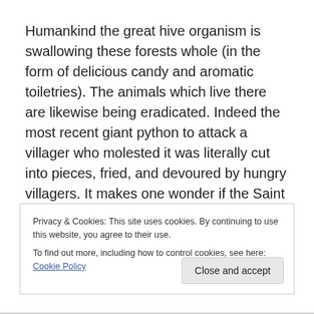Humankind the great hive organism is swallowing these forests whole (in the form of delicious candy and aromatic toiletries).  The animals which live there are likewise being eradicated. Indeed the most recent giant python to attack a villager who molested it was literally cut into pieces, fried, and devoured by hungry villagers.  It makes one wonder if the Saint George and the Dragon pictures were
Privacy & Cookies: This site uses cookies. By continuing to use this website, you agree to their use.
To find out more, including how to control cookies, see here: Cookie Policy
Close and accept